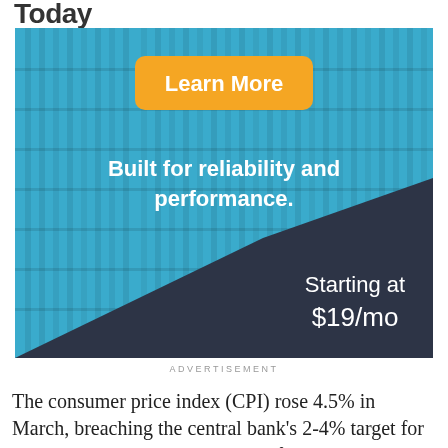Today
[Figure (advertisement): Web hosting advertisement banner with blue server rack background. Contains an orange 'Learn More' button, text 'Built for reliability and performance.' in white on blue background, and 'Starting at $19/mo' in white on dark navy triangle overlay.]
ADVERTISEMENT
The consumer price index (CPI) rose 4.5% in March, breaching the central bank's 2-4% target for a third straight month but easing from the